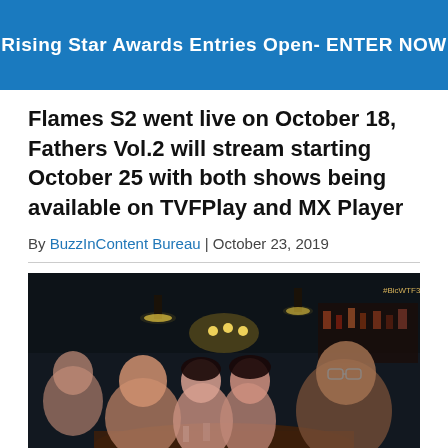Rising Star Awards Entries Open- ENTER NOW
Flames S2 went live on October 18, Fathers Vol.2 will stream starting October 25 with both shows being available on TVFPlay and MX Player
By BuzzInContent Bureau | October 23, 2019
[Figure (photo): Scene from a web series showing five people seated around a restaurant table in a dimly lit setting. Subtitle at bottom reads: "We'll call for something else. Dessert?" followed by Hindi text. A hashtag #BicWTF3 is visible in the top right corner.]